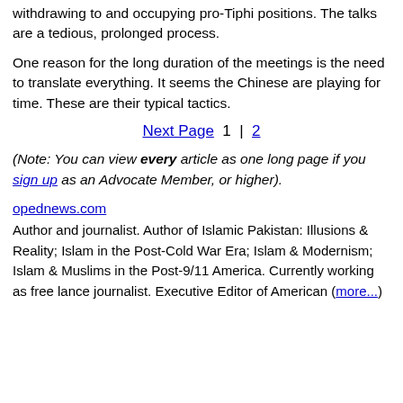withdrawing to and occupying pro-Tiphi positions. The talks are a tedious, prolonged process.
One reason for the long duration of the meetings is the need to translate everything. It seems the Chinese are playing for time. These are their typical tactics.
Next Page  1  |  2
(Note: You can view every article as one long page if you sign up as an Advocate Member, or higher).
opednews.com
Author and journalist. Author of Islamic Pakistan: Illusions & Reality; Islam in the Post-Cold War Era; Islam & Modernism; Islam & Muslims in the Post-9/11 America. Currently working as free lance journalist. Executive Editor of American (more...)